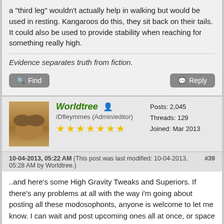a "third leg" wouldn't actually help in walking but would be used in resting. Kangaroos do this, they sit back on their tails. It could also be used to provide stability when reaching for something really high.
Evidence separates truth from fiction.
Find | Reply
Worldtree /Dfleymmes (Admin/editor) ★★★★★★★ Posts: 2,045 Threads: 129 Joined: Mar 2013
10-04-2013, 05:22 AM (This post was last modified: 10-04-2013, 05:28 AM by Worldtree.) #39
..and here's some High Gravity Tweaks and Superiors. If there's any problems at all with the way i'm going about posting all these modosophonts, anyone is welcome to let me know. I can wait and post upcoming ones all at once, or space them out. I can also start a new thread if this one is becoming unwieldy.